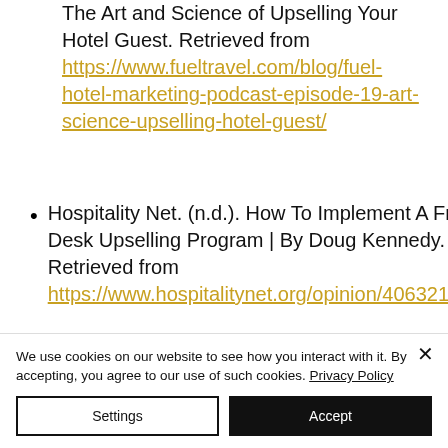The Art and Science of Upselling Your Hotel Guest. Retrieved from https://www.fueltravel.com/blog/fuel-hotel-marketing-podcast-episode-19-art-science-upselling-hotel-guest/
Hospitality Net. (n.d.). How To Implement A Front Desk Upselling Program | By Doug Kennedy. Retrieved from https://www.hospitalitynet.org/opinion/4063219.html
We use cookies on our website to see how you interact with it. By accepting, you agree to our use of such cookies. Privacy Policy